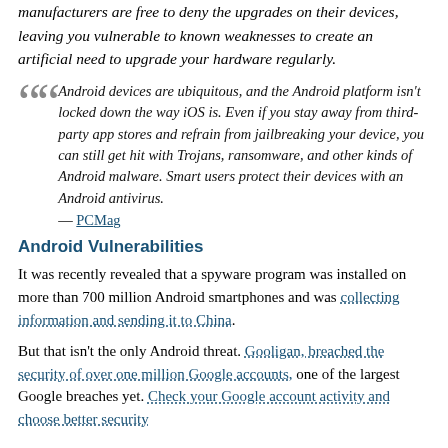manufacturers are free to deny the upgrades on their devices, leaving you vulnerable to known weaknesses to create an artificial need to upgrade your hardware regularly.
Android devices are ubiquitous, and the Android platform isn't locked down the way iOS is. Even if you stay away from third-party app stores and refrain from jailbreaking your device, you can still get hit with Trojans, ransomware, and other kinds of Android malware. Smart users protect their devices with an Android antivirus. — PCMag
Android Vulnerabilities
It was recently revealed that a spyware program was installed on more than 700 million Android smartphones and was collecting information and sending it to China.
But that isn't the only Android threat. Gooligan, breached the security of over one million Google accounts, one of the largest Google breaches yet. Check your Google account activity and choose better security